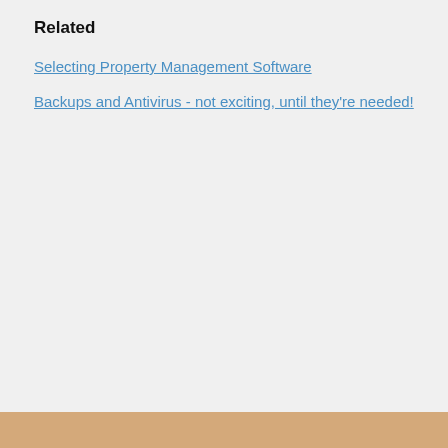Related
Selecting Property Management Software
Backups and Antivirus - not exciting, until they're needed!